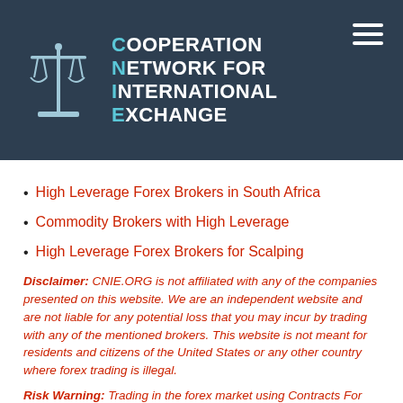CNIE — Cooperation Network for International Exchange
High Leverage Forex Brokers in South Africa
Commodity Brokers with High Leverage
High Leverage Forex Brokers for Scalping
Disclaimer: CNIE.ORG is not affiliated with any of the companies presented on this website. We are an independent website and are not liable for any potential loss that you may incur by trading with any of the mentioned brokers. This website is not meant for residents and citizens of the United States or any other country where forex trading is illegal.
Risk Warning: Trading in the forex market using Contracts For Difference, Options, Spread Betting and any other derivative trading instruments implies the risk of losing your entire investment. Derivative instruments are complex financial